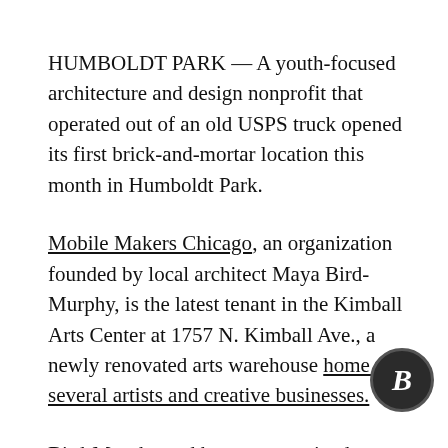HUMBOLDT PARK — A youth-focused architecture and design nonprofit that operated out of an old USPS truck opened its first brick-and-mortar location this month in Humboldt Park.
Mobile Makers Chicago, an organization founded by local architect Maya Bird-Murphy, is the latest tenant in the Kimball Arts Center at 1757 N. Kimball Ave., a newly renovated arts warehouse home to several artists and creative businesses.
Bird-Murphy and her team received $30,000 from the Bulls to build out the Kimball Arts Center space through the NBA's 75th Anniversary Legacy